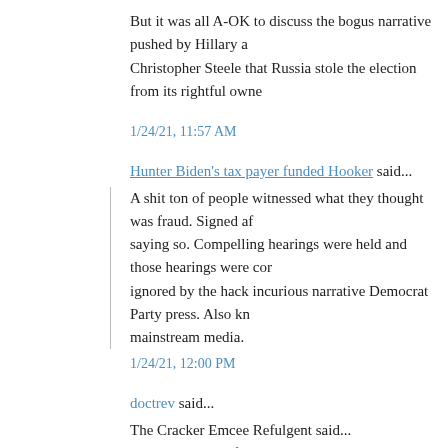But it was all A-OK to discuss the bogus narrative pushed by Hillary a... Christopher Steele that Russia stole the election from its rightful owne...
1/24/21, 11:57 AM
Hunter Biden's tax payer funded Hooker said...
A shit ton of people witnessed what they thought was fraud. Signed af... saying so. Compelling hearings were held and those hearings were co... ignored by the hack incurious narrative Democrat Party press. Also kn... mainstream media.
1/24/21, 12:00 PM
doctrev said...
The Cracker Emcee Refulgent said...
With the hair-on-fire hysteria period passed, you're going to start seei... accusations brought up more, not less. Slowly at first, but reaching a c... the mid-terms.